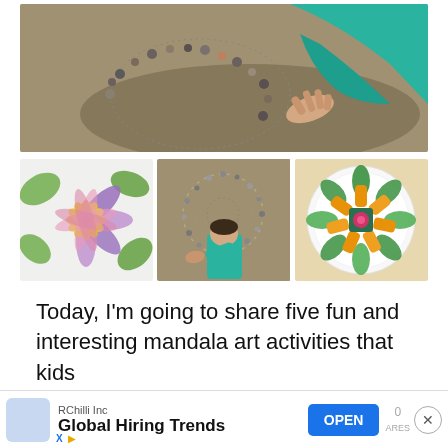[Figure (photo): Child in teal long-sleeve top arranging pebbles/shells in a circular mandala pattern on sand, viewed from above]
[Figure (photo): Three photos in a row: (1) colorful flower petal mandala on white paper with green, yellow, purple petals; (2) child in teal top making a pebble mandala on sand viewed from above; (3) mandala made of orange, green food items on a white plate]
Today, I'm going to share five fun and interesting mandala art activities that kids
[Figure (screenshot): Advertisement banner: RChilli Inc - Global Hiring Trends, with OPEN button, X and play badges, share count '0 ARES', and close X button]